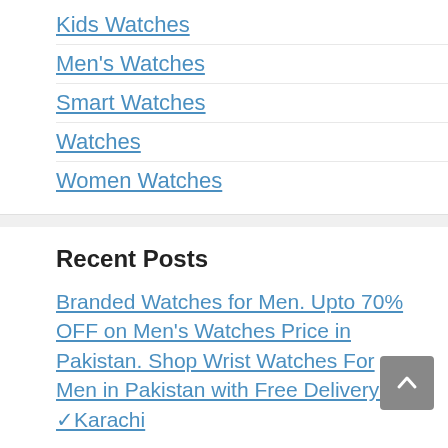Kids Watches
Men's Watches
Smart Watches
Watches
Women Watches
Recent Posts
Branded Watches for Men. Upto 70% OFF on Men's Watches Price in Pakistan. Shop Wrist Watches For Men in Pakistan with Free Delivery in ✓Karachi
Top watches: Jongines legend diver for